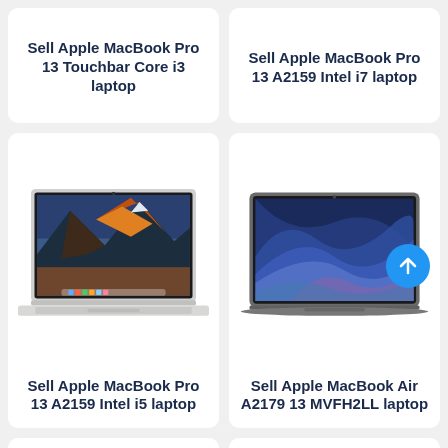Sell Apple MacBook Pro 13 Touchbar Core i3 laptop
Sell Apple MacBook Pro 13 A2159 Intel i7 laptop
[Figure (photo): MacBook Pro 13 silver laptop with mountain/sunset wallpaper]
Sell Apple MacBook Pro 13 A2159 Intel i5 laptop
[Figure (photo): MacBook Air A2179 space gray laptop with blue/purple wave wallpaper]
Sell Apple MacBook Air A2179 13 MVFH2LL laptop
[Figure (photo): MacBook laptop open showing video call with multiple participants]
[Figure (photo): MacBook Pro with colorful spectrum wallpaper, partially visible]